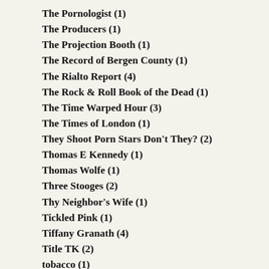The Pornologist (1)
The Producers (1)
The Projection Booth (1)
The Record of Bergen County (1)
The Rialto Report (4)
The Rock & Roll Book of the Dead (1)
The Time Warped Hour (3)
The Times of London (1)
They Shoot Porn Stars Don't They? (2)
Thomas E Kennedy (1)
Thomas Wolfe (1)
Three Stooges (2)
Thy Neighbor's Wife (1)
Tickled Pink (1)
Tiffany Granath (4)
Title TK (2)
tobacco (1)
Todo Beatles (radio station) (1)
Traci Lords (20)